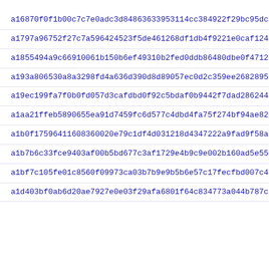a16870f0f1b00c7c7e0adc3d84863633953114cc384922f29bc95dc483e9e
a1797a96752f27c7a596424523f5de461268df1db4f9221e0caf124966f7b
a1855494a9c66910061b150b6ef49310b2fed0ddb86480dbe0f47120520c5
a193a806530a8a3298fd4a636d390d8d89057ec0d2c359ee268289594c4a7
a19ec199fa7f0b0fd057d3cafdbd0f92c5bdaf0b9442f7dad28624470c8db
a1aa21ffeb5890655ea91d7459fc6d577c4dbd4fa75f274bf94ae8201d03e
a1b0f17596411608360020e79c1df4d031218d4347222a9fad9f58ab40a61
a1b7b6c33fce9403af00b5bd677c3af1729e4b9c9e002b160ad5e550d8046
a1bf7c105fe01c8560f09973ca03b7b9e9b5b6e57c17fecfbd007c45dcb1a
a1d403bf0ab6d20ae7927e0e03f29afa6801f64c834773a044b787c53064e